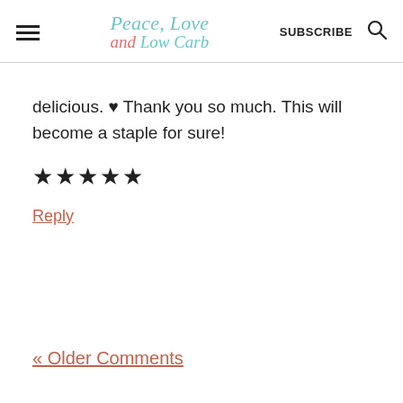Peace, Love and Low Carb — SUBSCRIBE
delicious. ♥ Thank you so much. This will become a staple for sure!
★★★★★
Reply
« Older Comments